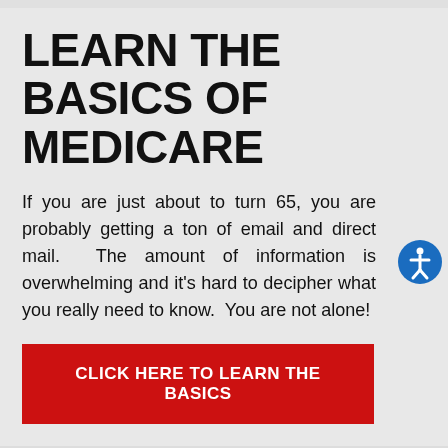LEARN THE BASICS OF MEDICARE
If you are just about to turn 65, you are probably getting a ton of email and direct mail.  The amount of information is overwhelming and it's hard to decipher what you really need to know.  You are not alone!
CLICK HERE TO LEARN THE BASICS
NEED MORE HELP?